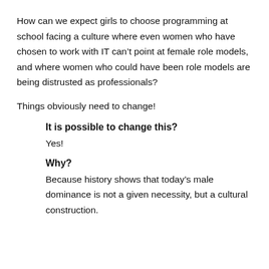How can we expect girls to choose programming at school facing a culture where even women who have chosen to work with IT can't point at female role models, and where women who could have been role models are being distrusted as professionals?
Things obviously need to change!
It is possible to change this?
Yes!
Why?
Because history shows that today's male dominance is not a given necessity, but a cultural construction.